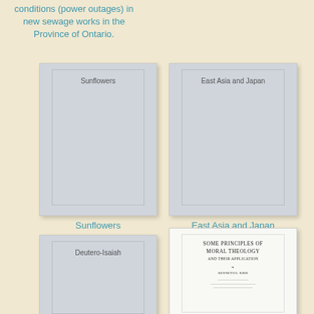conditions (power outages) in new sewage works in the Province of Ontario.
[Figure (illustration): Book cover placeholder with title 'Sunflowers']
Sunflowers
[Figure (illustration): Book cover placeholder with title 'East Asia and Japan']
East Asia and Japan
[Figure (illustration): Book cover placeholder with title 'Deutero-Isaiah']
[Figure (illustration): Book cover showing 'Some Principles of Moral Theology and Their Application' by Kenneth E. Kirk]